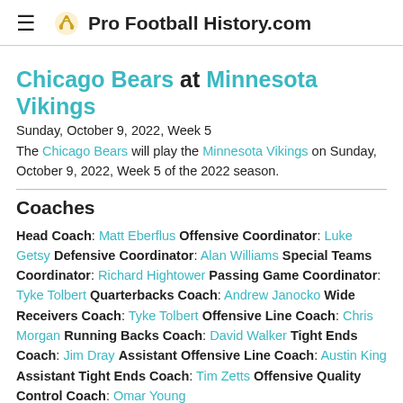Pro Football History.com
Chicago Bears at Minnesota Vikings
Sunday, October 9, 2022, Week 5
The Chicago Bears will play the Minnesota Vikings on Sunday, October 9, 2022, Week 5 of the 2022 season.
Coaches
Head Coach: Matt Eberflus Offensive Coordinator: Luke Getsy Defensive Coordinator: Alan Williams Special Teams Coordinator: Richard Hightower Passing Game Coordinator: Tyke Tolbert Quarterbacks Coach: Andrew Janocko Wide Receivers Coach: Tyke Tolbert Offensive Line Coach: Chris Morgan Running Backs Coach: David Walker Tight Ends Coach: Jim Dray Assistant Offensive Line Coach: Austin King Assistant Tight Ends Coach: Tim Zetts Offensive Quality Control Coach: Omar Young